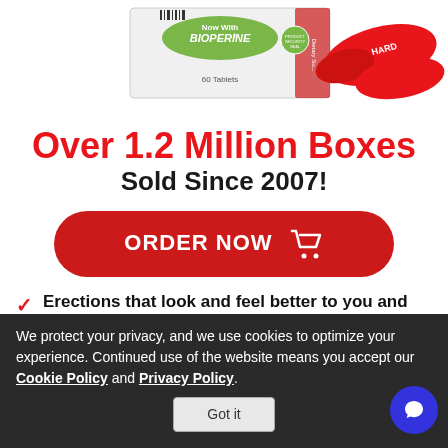[Figure (photo): Product image showing a supplement box labeled 'Now With BIOPERINE' with 60 Tablets, a security seal, and red capsule pills on a white background.]
Over 1.2 Million Boxes Sold Since 2007!
[Figure (other): Red rounded rectangle button with white text 'ORDER NOW' and a shopping cart icon.]
Erections that look and feel better to you and your partner
Supercharge your libido and sexual desire
We protect your privacy, and we use cookies to optimize your experience. Continued use of the website means you accept our Cookie Policy and Privacy Policy.
Got it